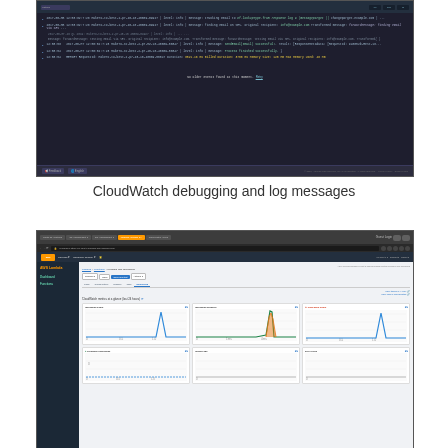[Figure (screenshot): CloudWatch log viewer showing debug log entries with timestamps, request IDs, and message text on a dark background interface]
CloudWatch debugging and log messages
[Figure (screenshot): AWS Lambda console showing the Monitoring tab with CloudWatch metrics at a glance, including invocation count, invocation duration, invocation errors, throttled invocations, iterator age, and DLQ errors graphs]